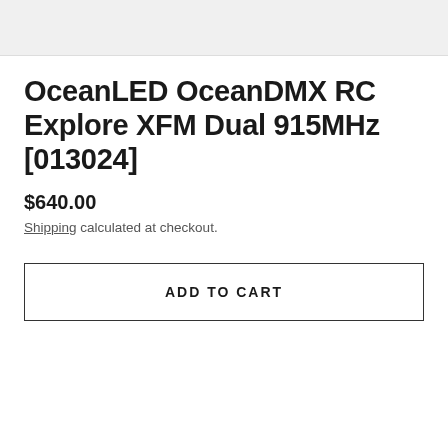[Figure (photo): Gray image placeholder bar at top of page]
OceanLED OceanDMX RC Explore XFM Dual 915MHz [013024]
$640.00
Shipping calculated at checkout.
ADD TO CART